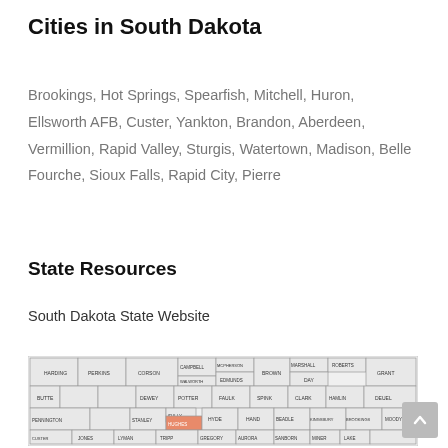Cities in South Dakota
Brookings, Hot Springs, Spearfish, Mitchell, Huron, Ellsworth AFB, Custer, Yankton, Brandon, Aberdeen, Vermillion, Rapid Valley, Sturgis, Watertown, Madison, Belle Fourche, Sioux Falls, Rapid City, Pierre
State Resources
South Dakota State Website
[Figure (map): County map of South Dakota showing county names and borders. Counties visible include Harding, Perkins, Corson, Campbell, Walworth, Edmunds, Brown, Marshall, Roberts, Day, Grant, Butte, Ziebach, Dewey, Potter, Faulk, Spink, Clark, Hamlin, Deuel, Meade, Sully, Hyde, Hand, Beadle, Kingsbury, Brookings, Pennington, Stanley, Hughes (highlighted in orange), Lyman, Buffalo, Jerauld, Sanborn, Miner, Lake, Moody, Jones, Tripp, Gregory, Aurora, Davison, Hanson, etc.]